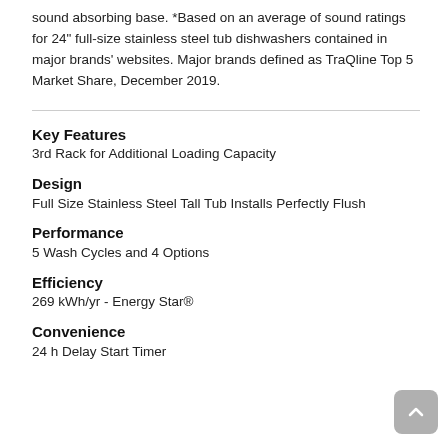sound absorbing base. *Based on an average of sound ratings for 24" full-size stainless steel tub dishwashers contained in major brands' websites. Major brands defined as TraQline Top 5 Market Share, December 2019.
Key Features
3rd Rack for Additional Loading Capacity
Design
Full Size Stainless Steel Tall Tub Installs Perfectly Flush
Performance
5 Wash Cycles and 4 Options
Efficiency
269 kWh/yr - Energy Star®
Convenience
24 h Delay Start Timer